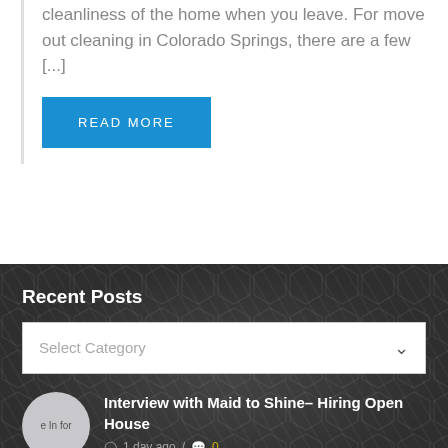cleanliness of the home when you leave. For move out cleaning in Colorado Springs, there are a few [...]
READ MORE
Recent Posts
Select Category
[Figure (photo): Circular thumbnail image with text 'e In for']
Interview with Maid to Shine– Hiring Open House
1 day ago / 0